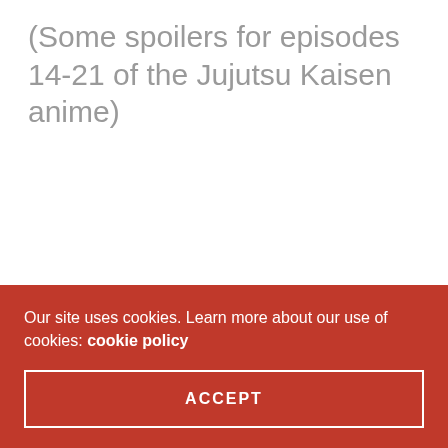(Some spoilers for episodes 14-21 of the Jujutsu Kaisen anime)
Our site uses cookies. Learn more about our use of cookies: cookie policy
ACCEPT